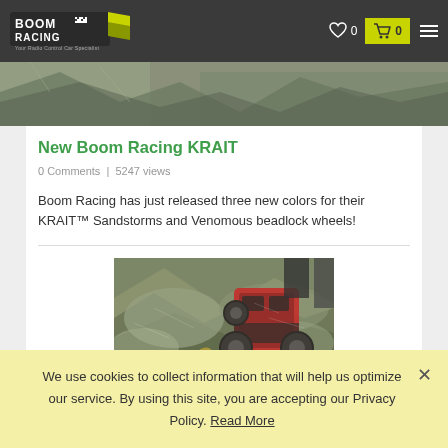BoomRacing — Your Radio Control Car Specialist | 0 | 0
[Figure (photo): Partial view of a rocky terrain photo at the top of the article]
New Boom Racing KRAIT
0 Comments | 5247 views
Boom Racing has just released three new colors for their KRAIT™ Sandstorms and Venomous beadlock wheels!
[Figure (photo): RC car (red/black) crawling over rocky terrain outdoors]
We use cookies to collect information that will help us optimize our service. By using this site, you are accepting our Privacy Policy. Read More